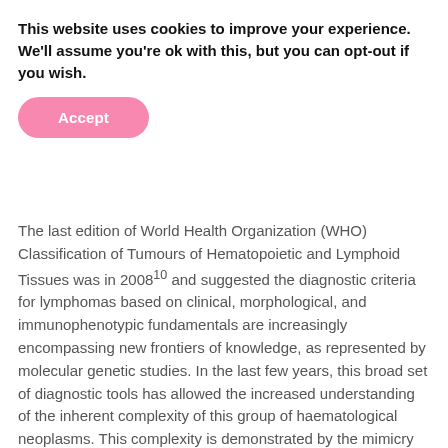This website uses cookies to improve your experience. We'll assume you're ok with this, but you can opt-out if you wish.
[Figure (other): Pink rounded Accept button]
The last edition of World Health Organization (WHO) Classification of Tumours of Hematopoietic and Lymphoid Tissues was in 200810 and suggested the diagnostic criteria for lymphomas based on clinical, morphological, and immunophenotypic fundamentals are increasingly encompassing new frontiers of knowledge, as represented by molecular genetic studies. In the last few years, this broad set of diagnostic tools has allowed the increased understanding of the inherent complexity of this group of haematological neoplasms. This complexity is demonstrated by the mimicry of morphological patterns, by the possibilities of transformation leading to greater aggressiveness, or by